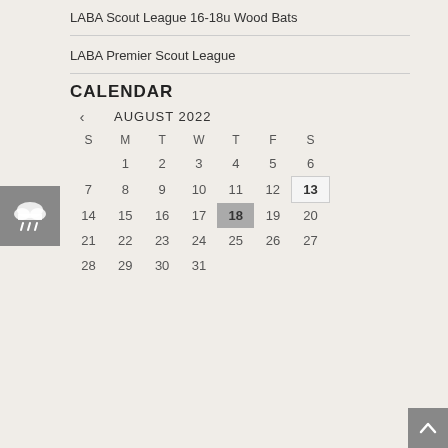LABA Scout League 16-18u Wood Bats
LABA Premier Scout League
CALENDAR
[Figure (other): August 2022 calendar with navigation arrow, day headers S M T W T F S, dates 1-31, day 13 highlighted with border, day 18 highlighted with gray background]
[Figure (other): Rain cloud weather icon on gray background]
[Figure (other): Scroll to top button with up arrow on gray background]